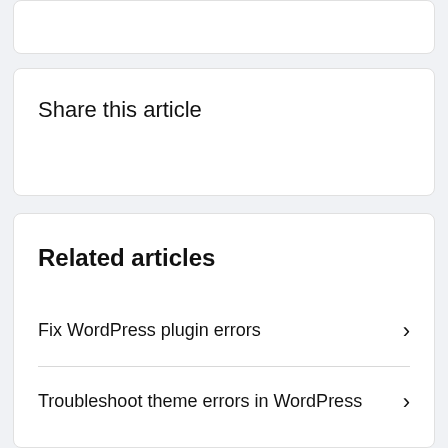Share this article
Related articles
Fix WordPress plugin errors
Troubleshoot theme errors in WordPress